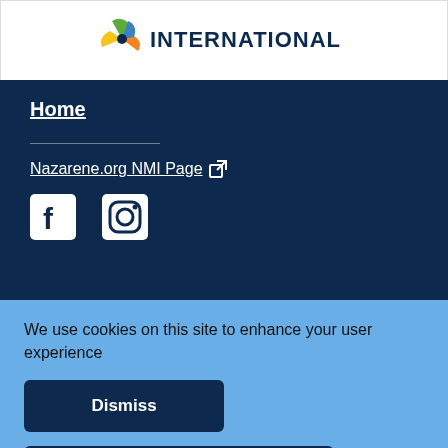[Figure (logo): NMI International logo with colorful pinwheel icon and bold text INTERNATIONAL]
Home
Nazarene.org NMI Page ↗
[Figure (illustration): Facebook and Instagram social media icons in white on dark navy background]
We use cookies on this site to enhance your user experience
Dismiss
Review privacy policy